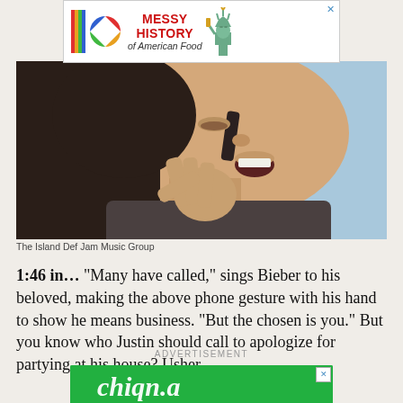[Figure (other): Advertisement banner for 'Messy History of American Food' with rainbow bars logo, colorful circle logo, and Statue of Liberty illustration. Red bold text reads MESSY HISTORY of American Food. Close X button top right.]
[Figure (photo): Close-up photo of a person (Justin Bieber) making a phone gesture with hand near face, mouth open, dark hair, light blue background.]
The Island Def Jam Music Group
1:46 in… “Many have called,” sings Bieber to his beloved, making the above phone gesture with his hand to show he means business. “But the chosen is you.” But you know who Justin should call to apologize for partying at his house? Usher.
ADVERTISEMENT
[Figure (other): Green advertisement banner with white stylized cursive logo text on green background with X close button.]